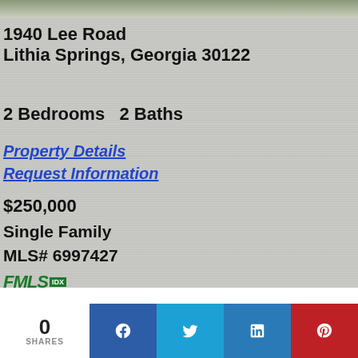[Figure (photo): Exterior photo of property at 1940 Lee Road, Lithia Springs, Georgia — partial view of driveway and greenery]
1940 Lee Road
Lithia Springs, Georgia 30122
2 Bedrooms   2 Baths
Property Details
Request Information
$250,000
Single Family
MLS# 6997427
[Figure (logo): FMLS IDX logo]
0 SHARES | Facebook | Twitter | LinkedIn | Pinterest